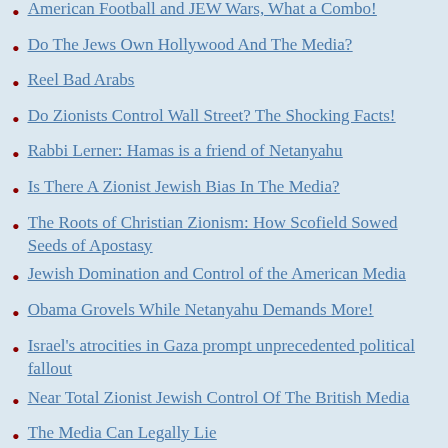American Football and JEW Wars, What a Combo!
Do The Jews Own Hollywood And The Media?
Reel Bad Arabs
Do Zionists Control Wall Street? The Shocking Facts!
Rabbi Lerner: Hamas is a friend of Netanyahu
Is There A Zionist Jewish Bias In The Media?
The Roots of Christian Zionism: How Scofield Sowed Seeds of Apostasy
Jewish Domination and Control of the American Media
Obama Grovels While Netanyahu Demands More!
Israel's atrocities in Gaza prompt unprecedented political fallout
Near Total Zionist Jewish Control Of The British Media
The Media Can Legally Lie
The REAL Story of Thanksgiving
Message to Bosnian Muslims - Sheikh Imran